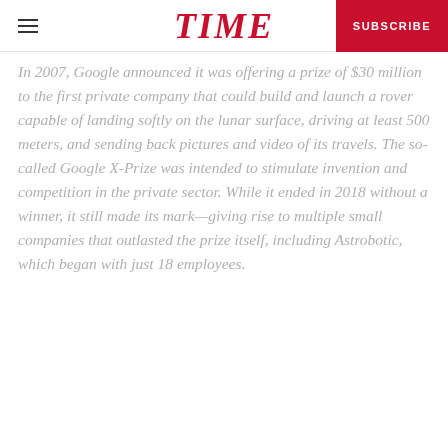TIME | SUBSCRIBE
In 2007, Google announced it was offering a prize of $30 million to the first private company that could build and launch a rover capable of landing softly on the lunar surface, driving at least 500 meters, and sending back pictures and video of its travels. The so-called Google X-Prize was intended to stimulate invention and competition in the private sector. While it ended in 2018 without a winner, it still made its mark—giving rise to multiple small companies that outlasted the prize itself, including Astrobotic, which began with just 18 employees.